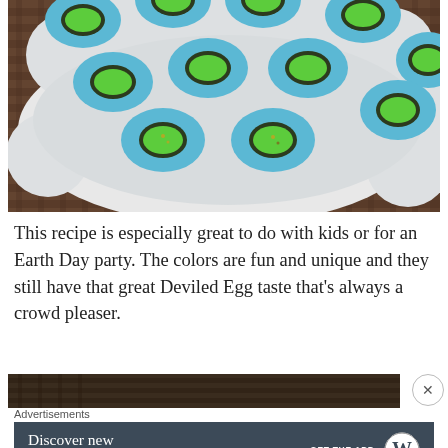[Figure (photo): Overhead photo of blue-dyed deviled eggs with green filling arranged on a white egg tray, placed on a dark wicker/rattan surface.]
This recipe is especially great to do with kids or for an Earth Day party. The colors are fun and unique and they still have that great Deviled Egg taste that's always a crowd pleaser.
[Figure (photo): Partial view of another food photo on dark background, partially cut off.]
Advertisements
[Figure (screenshot): Advertisement banner: 'Discover new reads on the go.' with 'GET THE APP' call to action and WordPress logo.]